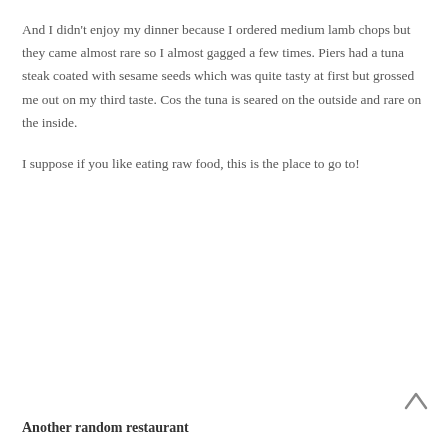And I didn't enjoy my dinner because I ordered medium lamb chops but they came almost rare so I almost gagged a few times. Piers had a tuna steak coated with sesame seeds which was quite tasty at first but grossed me out on my third taste. Cos the tuna is seared on the outside and rare on the inside.

I suppose if you like eating raw food, this is the place to go to!
Another random restaurant